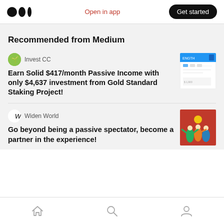Open in app | Get started
Recommended from Medium
Invest CC
Earn Solid $417/month Passive Income with only $4,637 investment from Gold Standard Staking Project!
[Figure (screenshot): Thumbnail screenshot of a financial app dashboard with blue header]
Widen World
Go beyond being a passive spectator, become a partner in the experience!
[Figure (illustration): Red background illustration with colorful figures of people]
Home | Search | Profile